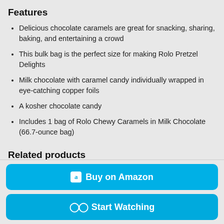Features
Delicious chocolate caramels are great for snacking, sharing, baking, and entertaining a crowd
This bulk bag is the perfect size for making Rolo Pretzel Delights
Milk chocolate with caramel candy individually wrapped in eye-catching copper foils
A kosher chocolate candy
Includes 1 bag of Rolo Chewy Caramels in Milk Chocolate (66.7-ounce bag)
Related products
Buy on Amazon
Start Watching